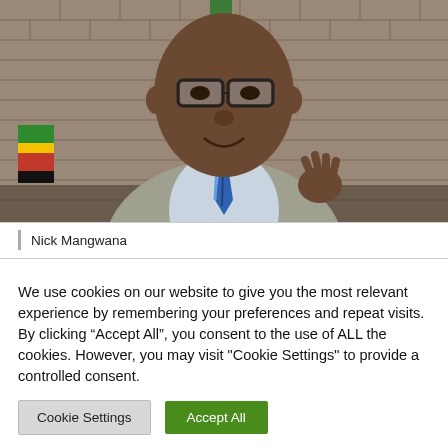[Figure (photo): Photograph of Nick Mangwana, a man in a grey suit with a blue-patterned tie and glasses, gesturing with his right hand. A brick wall and flags are visible in the background.]
Nick Mangwana
We use cookies on our website to give you the most relevant experience by remembering your preferences and repeat visits. By clicking “Accept All”, you consent to the use of ALL the cookies. However, you may visit "Cookie Settings" to provide a controlled consent.